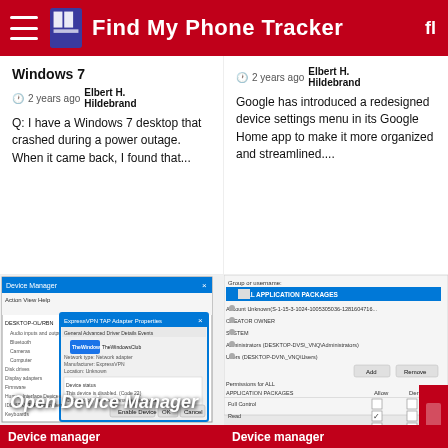Find My Phone Tracker
Windows 7
2 years ago  Elbert H. Hildebrand
Q: I have a Windows 7 desktop that crashed during a power outage. When it came back, I found that...
2 years ago  Elbert H. Hildebrand
Google has introduced a redesigned device settings menu in its Google Home app to make it more organized and streamlined....
[Figure (screenshot): Device Manager window showing network adapter properties dialog with TheWindowsClub branding and Enable Device button]
Device manager
[Figure (screenshot): Windows security permissions dialog showing ALL APPLICATION PACKAGES permissions with Allow/Deny checkboxes]
Device manager